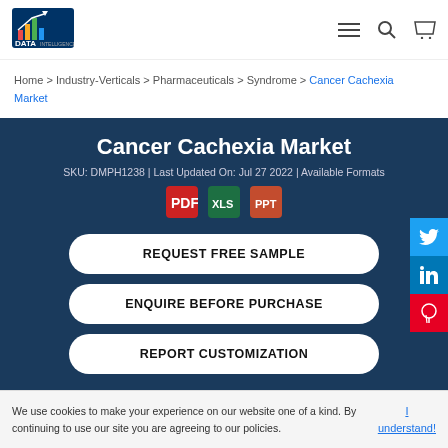[Figure (logo): DataM Intelligence logo with bar chart icon]
≡  🔍  🛒
Home > Industry-Verticals > Pharmaceuticals > Syndrome > Cancer Cachexia Market
Cancer Cachexia Market
SKU: DMPH1238 | Last Updated On: Jul 27 2022 | Available Formats
[Figure (infographic): PDF, Excel, and PowerPoint format icons]
REQUEST FREE SAMPLE
ENQUIRE BEFORE PURCHASE
REPORT CUSTOMIZATION
Cance
We use cookies to make your experience on our website one of a kind. By continuing to use our site you are agreeing to our policies.
I understand!